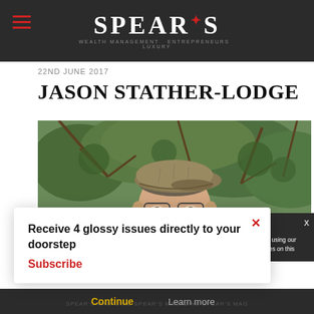SPEAR'S
22ND JUNE 2017
JASON STATHER-LODGE
[Figure (photo): Photo of Jason Stather-Lodge, a man wearing glasses and a flat cap, outdoors with trees in the background]
Receive 4 glossy issues directly to your doorstep Subscribe
continue using our all cookies on this
Continue  Learn more